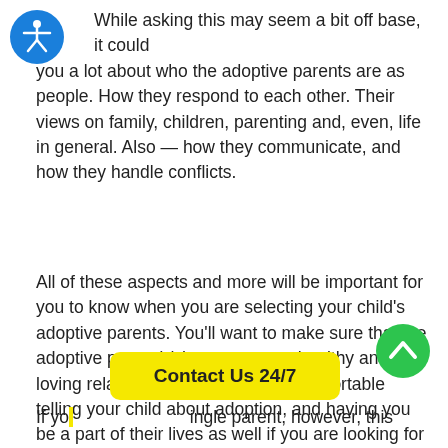While asking this may seem a bit off base, it could you a lot about who the adoptive parents are as people. How they respond to each other. Their views on family, children, parenting and, even, life in general. Also — how they communicate, and how they handle conflicts.
All of these aspects and more will be important for you to know when you are selecting your child's adoptive parents. You'll want to make sure that the adoptive parent(s) have a strong, healthy and loving relationship. That they are comfortable telling your child about adoption, and having you be a part of their lives as well if you are looking for an open adoption agreement. Listen to your instincts with this one. Watch their body language. This can also reveal a lot.
If yo ingle parent, however, this
[Figure (other): Blue circular accessibility icon (wheelchair person symbol) in top-left corner]
[Figure (other): Green circular scroll-to-top button with upward chevron arrow]
Contact Us 24/7